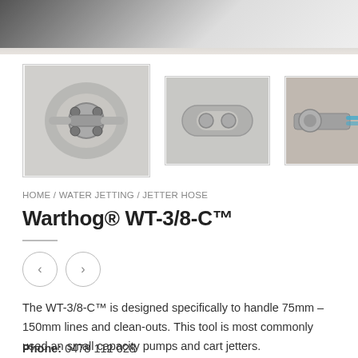[Figure (photo): Top blurred background image strip showing a product in use]
[Figure (photo): Main thumbnail: close-up of Warthog WT-3/8-C nozzle tool, silver metal finish]
[Figure (photo): Second thumbnail: side view of the nozzle tool, lighter grey tone]
[Figure (photo): Third thumbnail: nozzle connected to a blue hose, in action]
HOME / WATER JETTING / JETTER HOSE
Warthog® WT-3/8-C™
The WT-3/8-C™ is designed specifically to handle 75mm – 150mm lines and clean-outs. This tool is most commonly used an small capacity pumps and cart jetters.
Phone: 0478 112 028